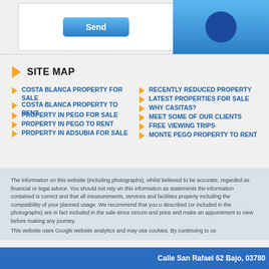[Figure (screenshot): Blue Send button and Facebook banner at top of page]
SITE MAP
COSTA BLANCA PROPERTY FOR SALE
COSTA BLANCA PROPERTY TO RENT
PROPERTY IN PEGO FOR SALE
PROPERTY IN PEGO TO RENT
PROPERTY IN ADSUBIA FOR SALE
RECENTLY REDUCED PROPERTY
LATEST PROPERTIES FOR SALE
WHY CASITAS?
MEET SOME OF OUR CLIENTS
FREE VIEWING TRIPS
MONTE PEGO PROPERTY TO RENT
The information on this website (including photographs), whilst believed to be accurate, regarded as financial or legal advice. You should not rely on this information as statements the information contained is correct and that all measurements, services and facilities property including the compatibility of your planned usage. We recommend that you u described (or included in the photographs) are in fact included in the sale since circum and price and make an appointment to view before making any journey.
This website uses Google website analytics and may use cookies. By continuing to us
Calle San Rafael 62 Bajo, 03780